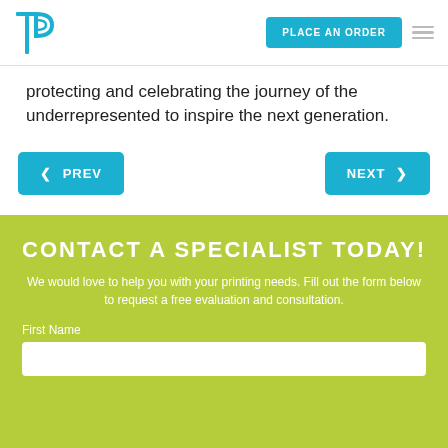TP Logo | PLACE AN ORDER | Navigation menu
protecting and celebrating the journey of the underrepresented to inspire the next generation.
◄ PREV
NEXT ►
CONTACT A SPECIALIST TODAY!
We would love to help you with your printing needs. Fill out the form below to request a free evaluation and consultation.
First Name